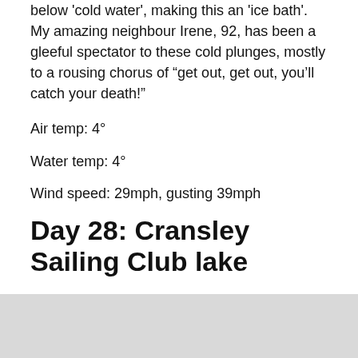below 'cold water', making this an 'ice bath'. My amazing neighbour Irene, 92, has been a gleeful spectator to these cold plunges, mostly to a rousing chorus of “get out, get out, you’ll catch your death!”
Air temp: 4°
Water temp: 4°
Wind speed: 29mph, gusting 39mph
Day 28: Cransley Sailing Club lake
Today we had snow! The ground was frosty, even in early afternoon, and every bit of standing water was frozen